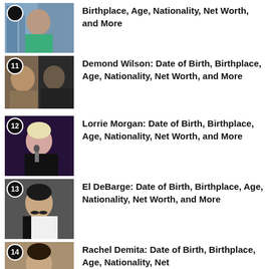Birthplace, Age, Nationality, Net Worth, and More
Demond Wilson: Date of Birth, Birthplace, Age, Nationality, Net Worth, and More
Lorrie Morgan: Date of Birth, Birthplace, Age, Nationality, Net Worth, and More
El DeBarge: Date of Birth, Birthplace, Age, Nationality, Net Worth, and More
Rachel Demita: Date of Birth, Birthplace, Age, Nationality, Net